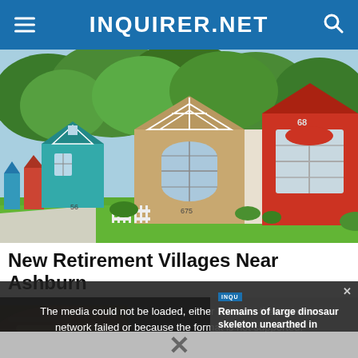INQUIRER.NET
[Figure (photo): Row of colorful small cottage-style homes (teal, beige, red) with white trim, numbers 56, 675, 68 visible, green trees in background, sunny day.]
New Retirement Villages Near Ashburn
[Figure (screenshot): Video player showing dinosaur skeleton news clip with text overlay 'REMAINS OF LARGE DINOSAUR SKELETON UNEARTHED IN PORTUGAL', with a video error message overlay: 'The media could not be loaded, either because the server or network failed or because the format is not supported.' A related article panel shows 'Remains of large dinosaur skeleton unearthed in Portugal' with an Inquirer.net logo and close button.]